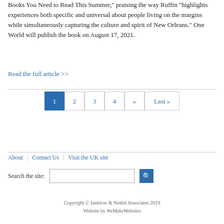Books You Need to Read This Summer," praising the way Ruffin "highlights experiences both specific and universal about people living on the margins while simultaneously capturing the culture and spirit of New Orleans." One World will publish the book on August 17, 2021.
Read the full article >>
1 2 3 4 »» Last »
About | Contact Us | Visit the UK site
Search the site:
Copyright © Janklow & Nesbit Associates 2019
Website by WeMakeWebsites